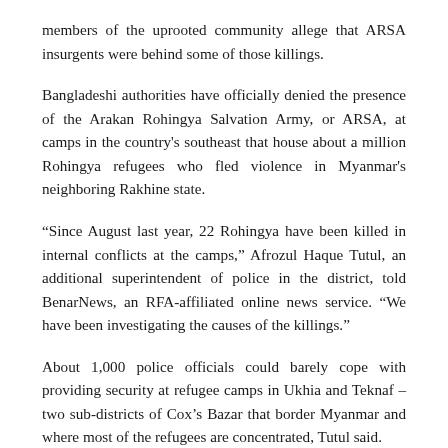members of the uprooted community allege that ARSA insurgents were behind some of those killings.
Bangladeshi authorities have officially denied the presence of the Arakan Rohingya Salvation Army, or ARSA, at camps in the country's southeast that house about a million Rohingya refugees who fled violence in Myanmar's neighboring Rakhine state.
“Since August last year, 22 Rohingya have been killed in internal conflicts at the camps,” Afrozul Haque Tutul, an additional superintendent of police in the district, told BenarNews, an RFA-affiliated online news service. “We have been investigating the causes of the killings.”
About 1,000 police officials could barely cope with providing security at refugee camps in Ukhia and Teknaf – two sub-districts of Cox’s Bazar that border Myanmar and where most of the refugees are concentrated, Tutul said.